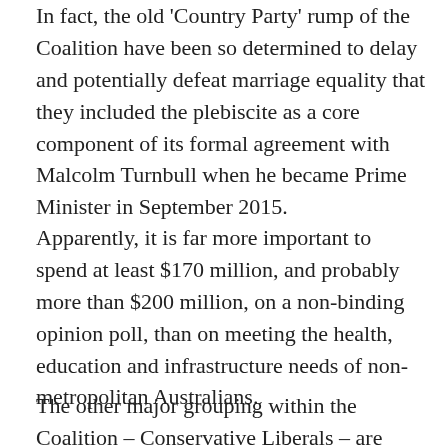In fact, the old 'Country Party' rump of the Coalition have been so determined to delay and potentially defeat marriage equality that they included the plebiscite as a core component of its formal agreement with Malcolm Turnbull when he became Prime Minister in September 2015.
Apparently, it is far more important to spend at least $170 million, and probably more than $200 million, on a non-binding opinion poll, than on meeting the health, education and infrastructure needs of non-metropolitan Australians.
The other major grouping within the Coalition – Conservative Liberals – are even less interested in